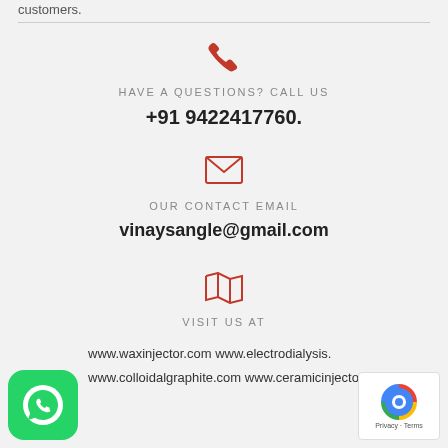customers.
HAVE A QUESTIONS? CALL US
+91 9422417760.
OUR CONTACT EMAIL
vinaysangle@gmail.com
VISIT US AT
www.waxinjector.com www.electrodialysis. www.colloidalgraphite.com www.ceramicinjector.com